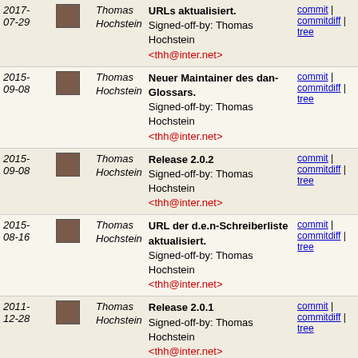| Date | Author | Message | Links |
| --- | --- | --- | --- |
| 2017-07-29 | Thomas Hochstein | URLs aktualisiert.
Signed-off-by: Thomas Hochstein <thh@inter.net> | commit | commitdiff | tree |
| 2015-09-08 | Thomas Hochstein | Neuer Maintainer des dan-Glossars.
Signed-off-by: Thomas Hochstein <thh@inter.net> | commit | commitdiff | tree |
| 2015-09-08 | Thomas Hochstein | Release 2.0.2
Signed-off-by: Thomas Hochstein <thh@inter.net> | commit | commitdiff | tree |
| 2015-08-16 | Thomas Hochstein | URL der d.e.n-Schreiberliste aktualisiert.
Signed-off-by: Thomas Hochstein <thh@inter.net> | commit | commitdiff | tree |
| 2011-12-28 | Thomas Hochstein | Release 2.0.1
Signed-off-by: Thomas Hochstein <thh@inter.net> | commit | commitdiff | tree |
| 2011-12-10 | Thomas Hochstein | Merge branch 'wip-jh' into update | commit | commitdiff | tree |
| 2011-12-01 | Thomas Hochstein | Versionsnummer zum Posting hinzugefuegt.
Signed-off-by: Thomas Hochstein <thh@inter.net> | commit | commitdiff | tree |
| 2011-11-25 | Thomas Hochstein | Release 2.0.0.
Signed-off-by: Thomas Hochstein <thh@inter.net> | commit | commitdiff | tree |
| 2011-11-19 | Thomas Hochstein | $ld$ hinzufuegen.
Signed-off-by: Thomas Hochstein | commit | commitdiff |